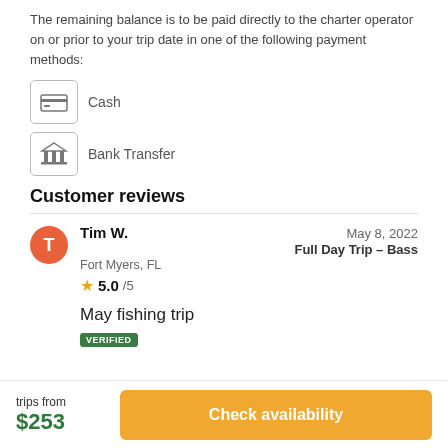The remaining balance is to be paid directly to the charter operator on or prior to your trip date in one of the following payment methods:
Cash
Bank Transfer
Customer reviews
Tim W. | Fort Myers, FL | May 8, 2022 | Full Day Trip – Bass | 5.0/5
May fishing trip
VERIFIED
trips from $253
Check availability